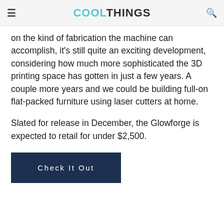COOLTHINGS
on the kind of fabrication the machine can accomplish, it's still quite an exciting development, considering how much more sophisticated the 3D printing space has gotten in just a few years. A couple more years and we could be building full-on flat-packed furniture using laser cutters at home.
Slated for release in December, the Glowforge is expected to retail for under $2,500.
Check It Out